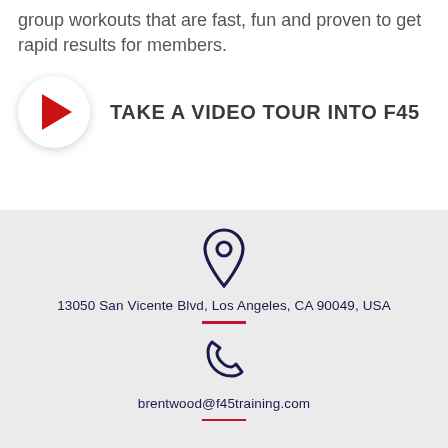group workouts that are fast, fun and proven to get rapid results for members.
TAKE A VIDEO TOUR INTO F45
13050 San Vicente Blvd, Los Angeles, CA 90049, USA
brentwood@f45training.com